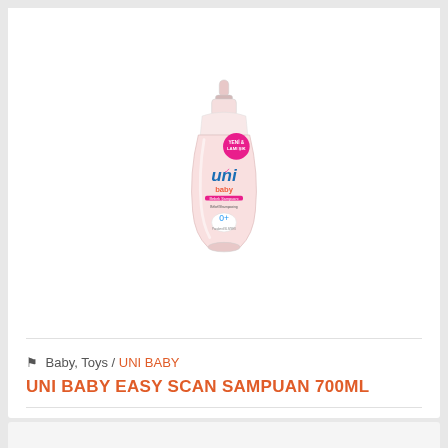[Figure (photo): Uni Baby Easy Scan Sampuan 700ml bottle with pump dispenser, pink color with white cap, product label showing 'uni baby' branding in blue/green/orange text on pink background with a badge sticker]
Baby, Toys / UNI BABY
UNI BABY EASY SCAN SAMPUAN 700ML
Stock code: 8692190009257